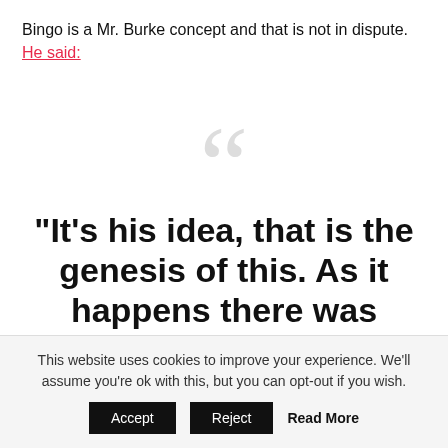Bingo is a Mr. Burke concept and that is not in dispute. He said:
“It’s his idea, that is the genesis of this. As it happens there was already a similar event established in London in 2014.
This website uses cookies to improve your experience. We’ll assume you’re ok with this, but you can opt-out if you wish.